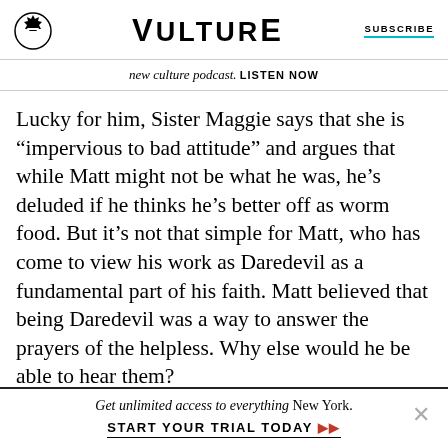VULTURE | SUBSCRIBE
new culture podcast. LISTEN NOW
Lucky for him, Sister Maggie says that she is “impervious to bad attitude” and argues that while Matt might not be what he was, he’s deluded if he thinks he’s better off as worm food. But it’s not that simple for Matt, who has come to view his work as Daredevil as a fundamental part of his faith. Matt believed that being Daredevil was a way to answer the prayers of the helpless. Why else would he be able to hear them?
Get unlimited access to everything New York. START YOUR TRIAL TODAY